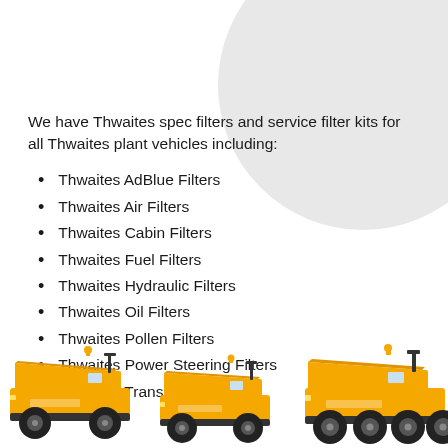We have Thwaites spec filters and service filter kits for all Thwaites plant vehicles including:
Thwaites AdBlue Filters
Thwaites Air Filters
Thwaites Cabin Filters
Thwaites Fuel Filters
Thwaites Hydraulic Filters
Thwaites Oil Filters
Thwaites Pollen Filters
Thwaites Power Steering Filters
Thwaites Transmission Filters
[Figure (photo): Three yellow Thwaites dumper/plant vehicles shown side by side at the bottom of the page]